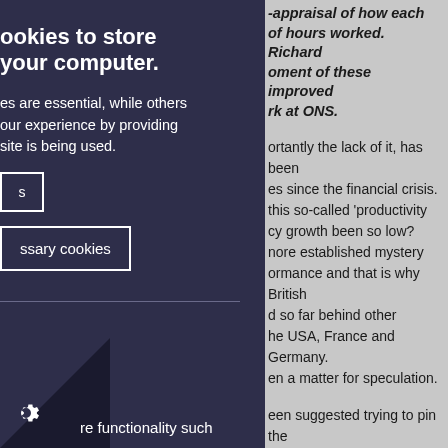ookies to store your computer.
es are essential, while others our experience by providing site is being used.
s
ssary cookies
re functionality such
-appraisal of how each of hours worked. Richard oment of these improved rk at ONS.
ortantly the lack of it, has been es since the financial crisis. this so-called 'productivity cy growth been so low? nore established mystery ormance and that is why British d so far behind other he USA, France and Germany. en a matter for speculation.
een suggested trying to pin the ement practices, low capital ning. Here at the ONS, as part ing more detailed productivity